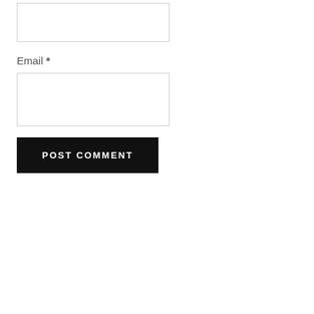[Figure (screenshot): An empty text input box (form field) with a light border, no label above it visible in this crop.]
Email *
[Figure (screenshot): An empty email input box (form field) with a light border.]
POST COMMENT